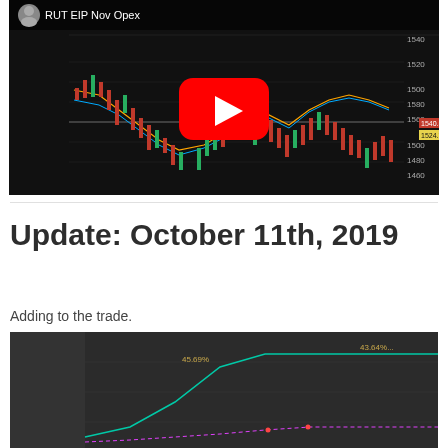[Figure (screenshot): YouTube video thumbnail showing a candlestick chart titled 'RUT EIP Nov Opex' with a red YouTube play button overlay. The chart shows RUT index price action with values around 1460-1540, with price labels 1540.52 (red) and 1524.77 (yellow) on the right side.]
Update: October 11th, 2019
Adding to the trade.
[Figure (screenshot): Dark-background trading chart showing two lines (teal/green and pink/magenta dashed) with percentage labels '45.69%' and '43.64%' annotated on the chart. The teal line rises steeply then plateaus, while the pink dashed line is relatively flat.]